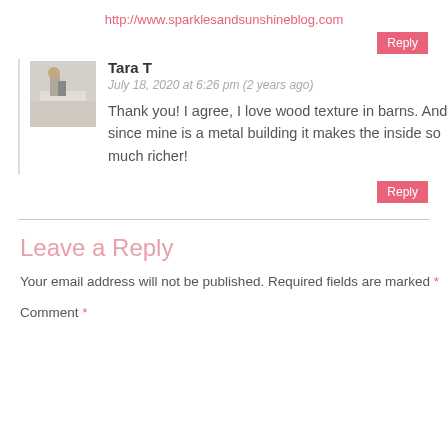http://www.sparklesandsunshineblog.com
Reply
[Figure (photo): Avatar photo of commenter Tara T, showing a person in a bright indoor setting]
Tara T
July 18, 2020 at 6:26 pm (2 years ago)
Thank you! I agree, I love wood texture in barns. And since mine is a metal building it makes the inside so much richer!
Reply
Leave a Reply
Your email address will not be published. Required fields are marked *
Comment *